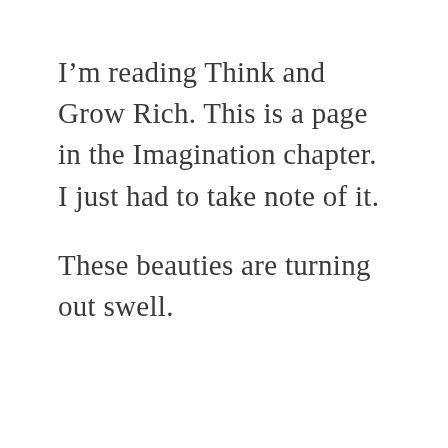I'm reading Think and Grow Rich. This is a page in the Imagination chapter. I just had to take note of it.
These beauties are turning out swell.